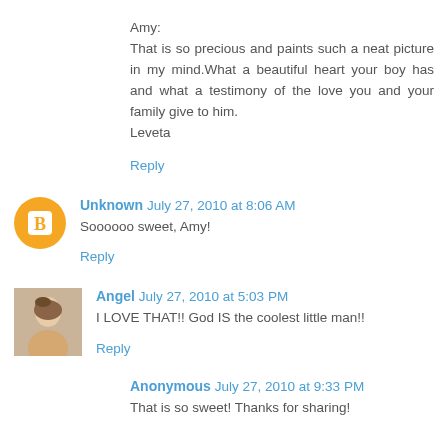Amy:
That is so precious and paints such a neat picture in my mind.What a beautiful heart your boy has and what a testimony of the love you and your family give to him.
Leveta
Reply
Unknown  July 27, 2010 at 8:06 AM
Soooooo sweet, Amy!
Reply
Angel  July 27, 2010 at 5:03 PM
I LOVE THAT!! God IS the coolest little man!!
Reply
Anonymous  July 27, 2010 at 9:33 PM
That is so sweet! Thanks for sharing!